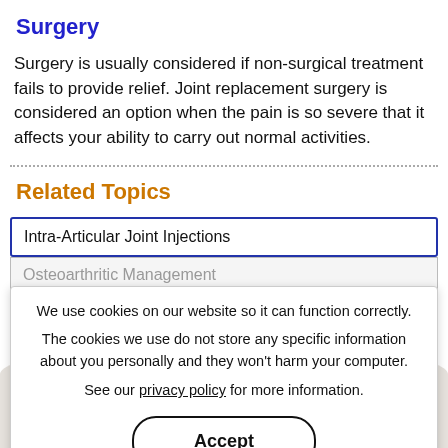Surgery
Surgery is usually considered if non-surgical treatment fails to provide relief. Joint replacement surgery is considered an option when the pain is so severe that it affects your ability to carry out normal activities.
Related Topics
Intra-Articular Joint Injections
Osteoarthritic Management
We use cookies on our website so it can function correctly. The cookies we use do not store any specific information about you personally and they won't harm your computer. See our privacy policy for more information.
Accept